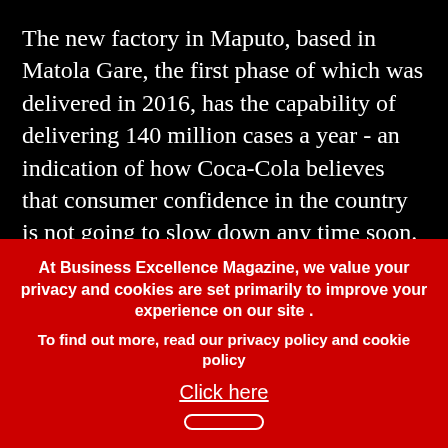The new factory in Maputo, based in Matola Gare, the first phase of which was delivered in 2016, has the capability of delivering 140 million cases a year - an indication of how Coca-Cola believes that consumer confidence in the country is not going to slow down any time soon. If this needed further underlining, it is also the largest greenfield undertaking Coca-Cola has ever taken across southern and eastern Africa.
The Matola Gare plant spans a total of 21 hectares and has the capacity to produce 24,000 two-litre bottles per hour. It also operates to the highest
At Business Excellence Magazine, we value your privacy and cookies are set primarily to improve your experience on our site . To find out more, read our privacy policy and cookie policy Click here